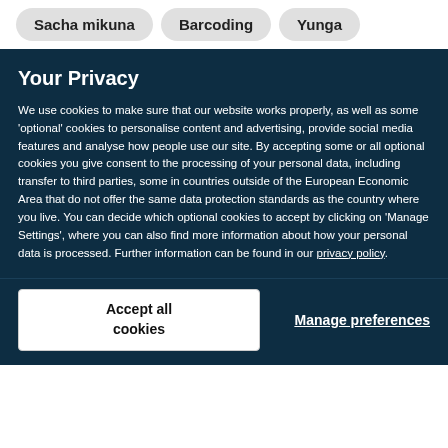Sacha mikuna
Barcoding
Yunga
Your Privacy
We use cookies to make sure that our website works properly, as well as some ‘optional’ cookies to personalise content and advertising, provide social media features and analyse how people use our site. By accepting some or all optional cookies you give consent to the processing of your personal data, including transfer to third parties, some in countries outside of the European Economic Area that do not offer the same data protection standards as the country where you live. You can decide which optional cookies to accept by clicking on ‘Manage Settings’, where you can also find more information about how your personal data is processed. Further information can be found in our privacy policy.
Accept all cookies
Manage preferences